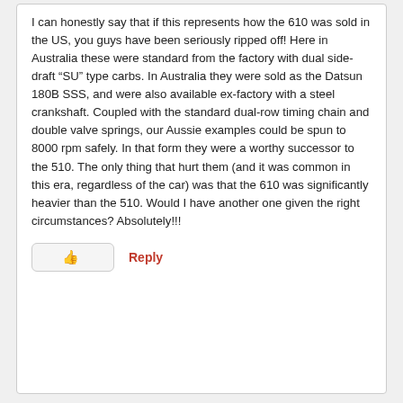I can honestly say that if this represents how the 610 was sold in the US, you guys have been seriously ripped off! Here in Australia these were standard from the factory with dual side-draft “SU” type carbs. In Australia they were sold as the Datsun 180B SSS, and were also available ex-factory with a steel crankshaft. Coupled with the standard dual-row timing chain and double valve springs, our Aussie examples could be spun to 8000 rpm safely. In that form they were a worthy successor to the 510. The only thing that hurt them (and it was common in this era, regardless of the car) was that the 610 was significantly heavier than the 510. Would I have another one given the right circumstances? Absolutely!!!